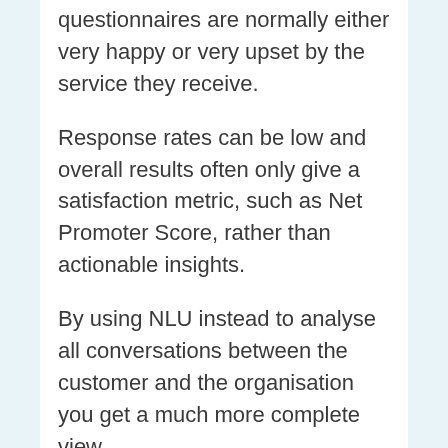questionnaires are normally either very happy or very upset by the service they receive.
Response rates can be low and overall results often only give a satisfaction metric, such as Net Promoter Score, rather than actionable insights.
By using NLU instead to analyse all conversations between the customer and the organisation you get a much more complete view.
Messages on both digital channels (email, social media, chat) and on the phone (through voice to text transcription), can be automatically